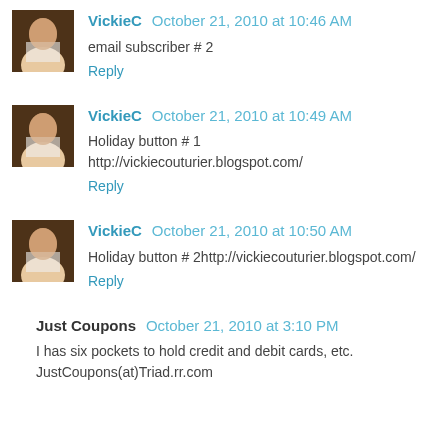[Figure (photo): Avatar image of VickieC - person photo thumbnail]
VickieC October 21, 2010 at 10:46 AM
email subscriber # 2
Reply
[Figure (photo): Avatar image of VickieC - person photo thumbnail]
VickieC October 21, 2010 at 10:49 AM
Holiday button # 1
http://vickiecouturier.blogspot.com/
Reply
[Figure (photo): Avatar image of VickieC - person photo thumbnail]
VickieC October 21, 2010 at 10:50 AM
Holiday button # 2http://vickiecouturier.blogspot.com/
Reply
Just Coupons October 21, 2010 at 3:10 PM
I has six pockets to hold credit and debit cards, etc.
JustCoupons(at)Triad.rr.com